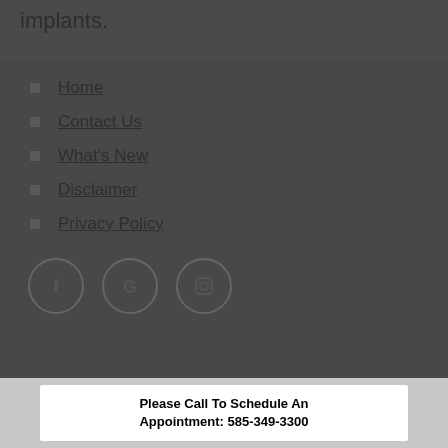implants.
Home
Contact Us
What's New
Disclaimer
Privacy Policy
[Figure (other): Social media icons: Facebook, Google, Instagram]
Please Call To Schedule An Appointment: 585-349-3300